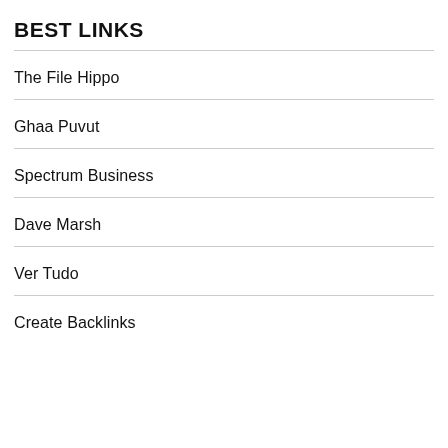BEST LINKS
The File Hippo
Ghaa Puvut
Spectrum Business
Dave Marsh
Ver Tudo
Create Backlinks